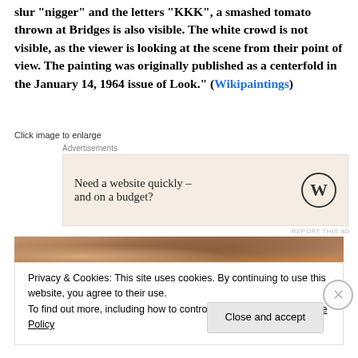slur “nigger” and the letters “KKK”, a smashed tomato thrown at Bridges is also visible. The white crowd is not visible, as the viewer is looking at the scene from their point of view. The painting was originally published as a centerfold in the January 14, 1964 issue of Look.” (Wikipaintings)
Click image to enlarge
[Figure (screenshot): Advertisement box with beige background reading 'Need a website quickly – and on a budget?' with WordPress logo]
[Figure (photo): Partial image strip showing a painting or artwork with warm brown and orange tones]
Privacy & Cookies: This site uses cookies. By continuing to use this website, you agree to their use.
To find out more, including how to control cookies, see here: Cookie Policy